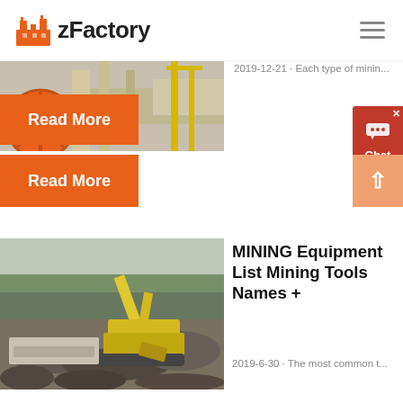zFactory
[Figure (photo): Partial view of mining crusher machinery with large orange wheel and conveyor belt equipment]
2019-12-21 · Each type of minin...
Read More
[Figure (infographic): Chat Now widget button in red]
[Figure (photo): Mining excavator and heavy equipment working on rocky terrain with forest background]
MINING Equipment List Mining Tools Names +
2019-6-30 · The most common t...
Read More